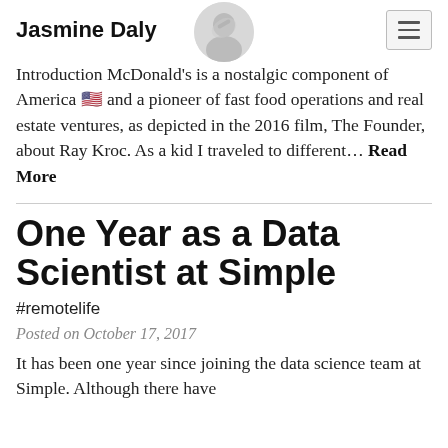Jasmine Daly
Introduction McDonald’s is a nostalgic component of America 🇺🇸 and a pioneer of fast food operations and real estate ventures, as depicted in the 2016 film, The Founder, about Ray Kroc. As a kid I traveled to different… Read More
One Year as a Data Scientist at Simple
#remotelife
Posted on October 17, 2017
It has been one year since joining the data science team at Simple. Although there have